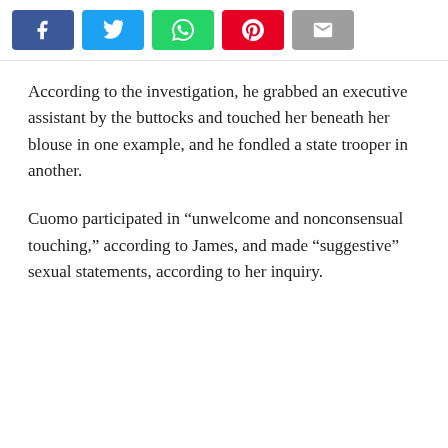[Figure (other): Social media share buttons: Facebook (blue), Twitter (light blue), WhatsApp (green), Pinterest (red), Email (gray)]
According to the investigation, he grabbed an executive assistant by the buttocks and touched her beneath her blouse in one example, and he fondled a state trooper in another.
Cuomo participated in “unwelcome and nonconsensual touching,” according to James, and made “suggestive” sexual statements, according to her inquiry.